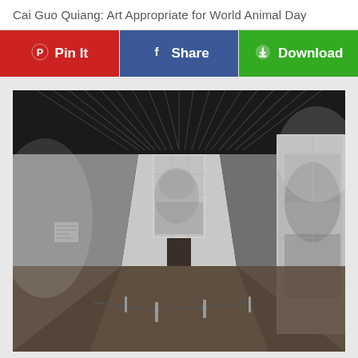Cai Guo Quiang: Art Appropriate for World Animal Day
[Figure (other): Three social sharing buttons: Pin It (red, Pinterest), Share (blue, Facebook), Download (green, with download icon)]
[Figure (photo): Interior of an art gallery showing a hallway with a slatted dark ceiling installation overhead, two large black-and-white artworks on the walls (one centered on the back wall, one on the right wall), a door at the end of the corridor, and a rope barrier on the floor. The walls are white and the lighting is dramatic.]